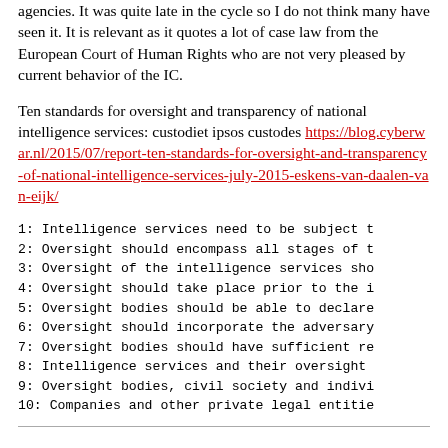agencies. It was quite late in the cycle so I do not think many have seen it. It is relevant as it quotes a lot of case law from the European Court of Human Rights who are not very pleased by current behavior of the IC.
Ten standards for oversight and transparency of national intelligence services: custodiet ipsos custodes https://blog.cyberwar.nl/2015/07/report-ten-standards-for-oversight-and-transparency-of-national-intelligence-services-july-2015-eskens-van-daalen-van-eijk/
1: Intelligence services need to be subject t
2: Oversight should encompass all stages of t
3: Oversight of the intelligence services sho
4: Oversight should take place prior to the i
5: Oversight bodies should be able to declare
6: Oversight should incorporate the adversary
7: Oversight bodies should have sufficient re
8: Intelligence services and their oversight
9: Oversight bodies, civil society and indivi
10: Companies and other private legal entitie